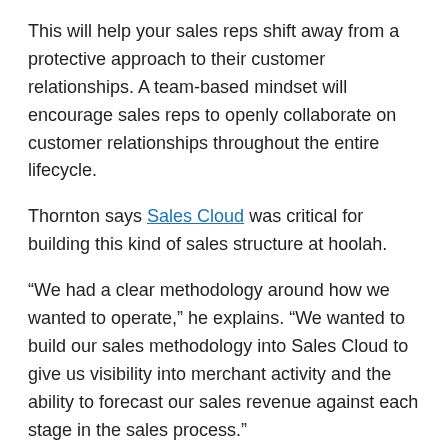This will help your sales reps shift away from a protective approach to their customer relationships. A team-based mindset will encourage sales reps to openly collaborate on customer relationships throughout the entire lifecycle.
Thornton says Sales Cloud was critical for building this kind of sales structure at hoolah.
“We had a clear methodology around how we wanted to operate,” he explains. “We wanted to build our sales methodology into Sales Cloud to give us visibility into merchant activity and the ability to forecast our sales revenue against each stage in the sales process.”
But to collaborate effectively, sales reps must all have access to a 360-degree customer view